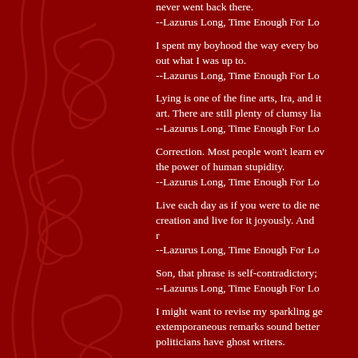never went back there.
--Lazurus Long, Time Enough For Love
I spent my boyhood the way every boy should–trying to figure out what I was up to.
--Lazurus Long, Time Enough For Love
Lying is one of the fine arts, Ira, and it has suffered as an art. There are still plenty of clumsy liars–
--Lazurus Long, Time Enough For Love
Correction. Most people won't learn even from history. Never underestimate the power of human stupidity.
--Lazurus Long, Time Enough For Love
Live each day as if you were to die next sunrise. Then face each sunrise as a precious new gift of creation and live for it joyously. And remember–
--Lazurus Long, Time Enough For Love
Son, that phrase is self-contradictory;
--Lazurus Long, Time Enough For Love
I might want to revise my sparkling gems of wisdom later or make my extemporaneous remarks sound better before they are published. All politicians have ghost writers.